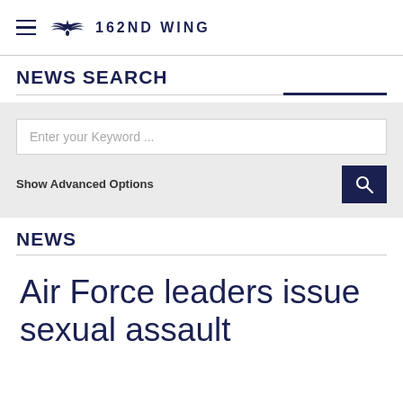162ND WING
NEWS SEARCH
Enter your Keyword ...
Show Advanced Options
NEWS
Air Force leaders issue sexual assault